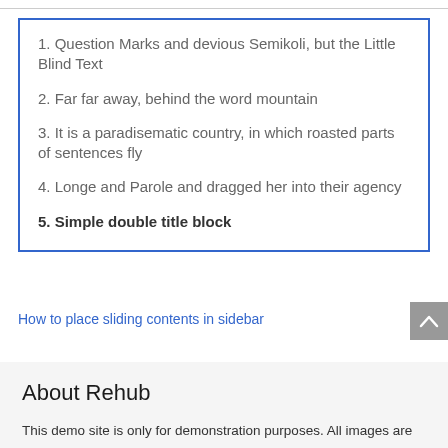1. Question Marks and devious Semikoli, but the Little Blind Text
2. Far far away, behind the word mountain
3. It is a paradisematic country, in which roasted parts of sentences fly
4. Longe and Parole and dragged her into their agency
5. Simple double title block
How to place sliding contents in sidebar
About Rehub
This demo site is only for demonstration purposes. All images are